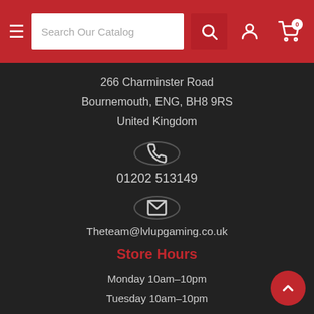Search Our Catalog
266 Charminster Road
Bournemouth, ENG, BH8 9RS
United Kingdom
[Figure (illustration): Phone icon inside a circle]
01202 513149
[Figure (illustration): Envelope/mail icon inside a circle]
Theteam@lvlupgaming.co.uk
Store Hours
Monday 10am–10pm
Tuesday 10am–10pm
Wednesday 10am–10pm
Thursday 10am–10pm